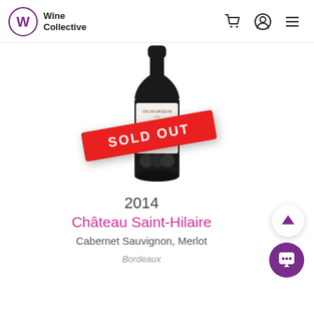Wine Collective
[Figure (photo): A bottle of Château Saint-Hilaire 2014 Médoc red wine with a white label, overlaid by a red diagonal 'SOLD OUT' banner.]
2014
Château Saint-Hilaire
Cabernet Sauvignon, Merlot
Bordeaux